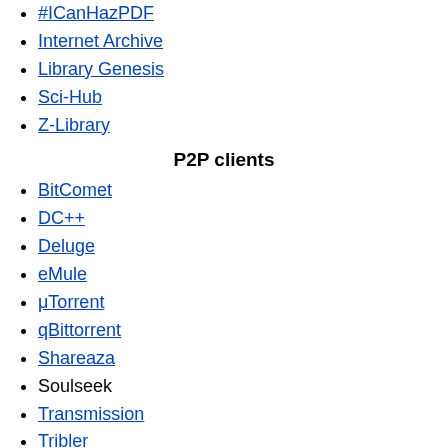#ICanHazPDF
Internet Archive
Library Genesis
Sci-Hub
Z-Library
P2P clients
BitComet
DC++
Deluge
eMule
μTorrent
qBittorrent
Shareaza
Soulseek
Transmission
Tribler
Vuze
Anonymous file sharing
Anonymous P2P
Darknet
Friend-to-friend
I2P
Private P2P